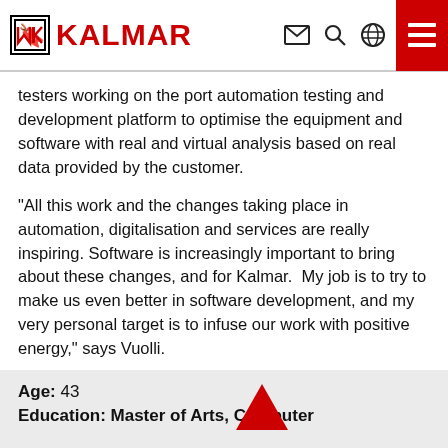KALMAR
testers working on the port automation testing and development platform to optimise the equipment and software with real and virtual analysis based on real data provided by the customer.
“All this work and the changes taking place in automation, digitalisation and services are really inspiring. Software is increasingly important to bring about these changes, and for Kalmar.  My job is to try to make us even better in software development, and my very personal target is to infuse our work with positive energy,” says Vuolli.
Age: 43
Education: Master of Arts, Computer